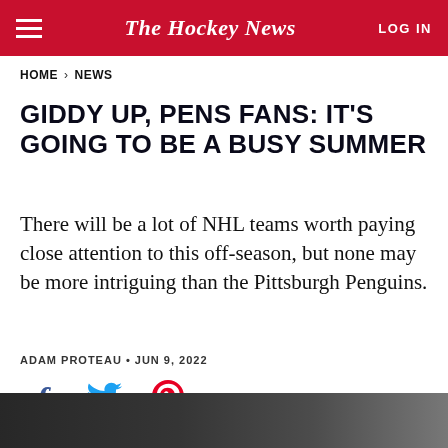The Hockey News | LOG IN
HOME > NEWS
GIDDY UP, PENS FANS: IT'S GOING TO BE A BUSY SUMMER
There will be a lot of NHL teams worth paying close attention to this off-season, but none may be more intriguing than the Pittsburgh Penguins.
ADAM PROTEAU • JUN 9, 2022
[Figure (other): Social share icons: Facebook (blue f), Twitter (blue bird), Pinterest (red P)]
[Figure (photo): Dark photographic image strip at the bottom of the page, partially visible]